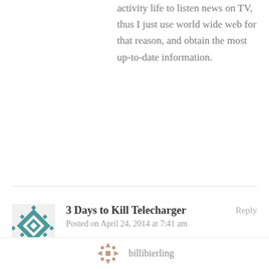activity life to listen news on TV, thus I just use world wide web for that reason, and obtain the most up-to-date information.
3 Days to Kill Telecharger
Posted on April 24, 2014 at 7:41 am

I was suggested this blog by my cousin. I'm not sure whether this post is written by him as no one else know such detailed
billibierling